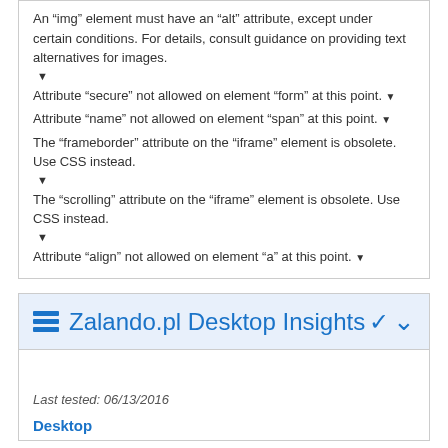An “img” element must have an “alt” attribute, except under certain conditions. For details, consult guidance on providing text alternatives for images.
Attribute “secure” not allowed on element “form” at this point.
Attribute “name” not allowed on element “span” at this point.
The “frameborder” attribute on the “iframe” element is obsolete. Use CSS instead.
The “scrolling” attribute on the “iframe” element is obsolete. Use CSS instead.
Attribute “align” not allowed on element “a” at this point.
Zalando.pl Desktop Insights
Last tested: 06/13/2016
Desktop